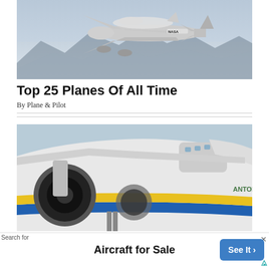[Figure (photo): NASA shuttle carrier aircraft in flight over mountains and haze, seen from above and slightly behind]
Top 25 Planes Of All Time
By Plane & Pilot
[Figure (photo): Close-up aerial view of the Antonov An-225 Mriya cargo aircraft with distinctive blue, yellow, and white livery, labeled 'ΑΝΤΟΝ 225']
Search for
Aircraft for Sale
See It >